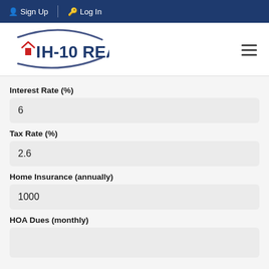Sign Up  Log In
[Figure (logo): IH-10 Realty logo with swoosh arc and red house icon]
Interest Rate (%)
6
Tax Rate (%)
2.6
Home Insurance (annually)
1000
HOA Dues (monthly)